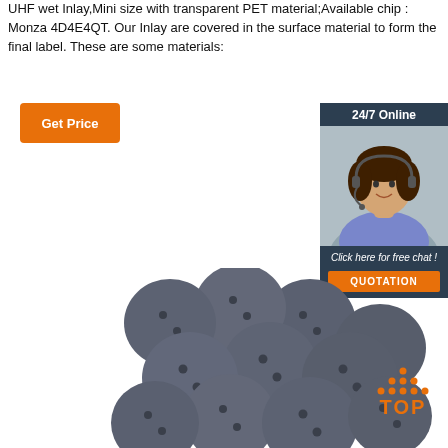UHF wet Inlay,Mini size with transparent PET material;Available chip : Monza 4D4E4QT. Our Inlay are covered in the surface material to form the final label. These are some materials:
[Figure (illustration): Orange 'Get Price' button]
[Figure (illustration): 24/7 Online customer support widget with photo of woman with headset, 'Click here for free chat!' text, and orange QUOTATION button]
[Figure (illustration): Multiple gray circular RFID button/coin tags arranged in a pile, shown as product photo]
[Figure (logo): Orange TOP logo with dots arranged in triangle above the word TOP]